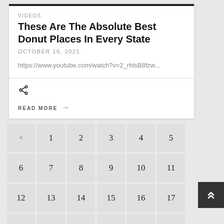VIDEOS
These Are The Absolute Best Donut Places In Every State
OCTOBER 19, 2021
https://www.youtube.com/watch?v=2_rhlsB8fzw...
READ MORE →
< 1 2 3 4 5 6 7 8 9 10 11 12 13 14 15 16 17 18 19 20 21 22 23